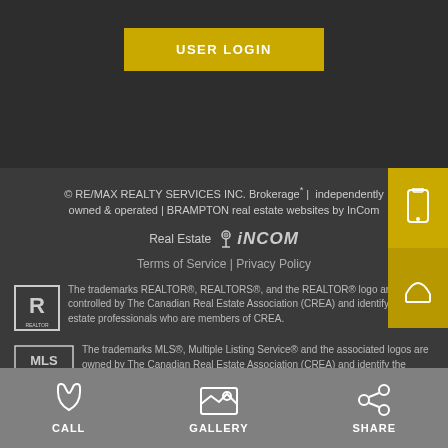USER LOGIN
© RE/MAX REALTY SERVICES INC. Brokerage* | independently owned & operated | BRAMPTON real estate websites by InCom Real Estate
Terms of Service | Privacy Policy
The trademarks REALTOR®, REALTORS®, and the REALTOR® logo are controlled by The Canadian Real Estate Association (CREA) and identify real estate professionals who are members of CREA.
The trademarks MLS®, Multiple Listing Service® and the associated logos are owned by The Canadian Real Estate Association (CREA) and identify the quality of services provided by real estate professionals who are members of CREA.
CALL
GALLERY
SHARE